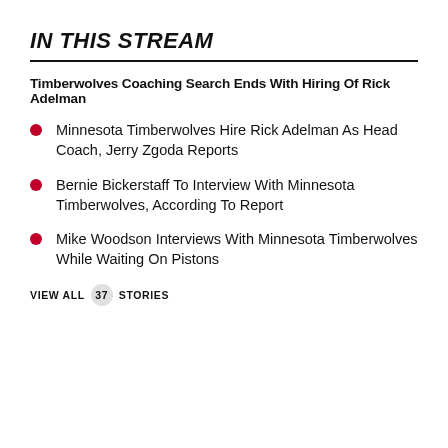IN THIS STREAM
Timberwolves Coaching Search Ends With Hiring Of Rick Adelman
Minnesota Timberwolves Hire Rick Adelman As Head Coach, Jerry Zgoda Reports
Bernie Bickerstaff To Interview With Minnesota Timberwolves, According To Report
Mike Woodson Interviews With Minnesota Timberwolves While Waiting On Pistons
VIEW ALL 37 STORIES